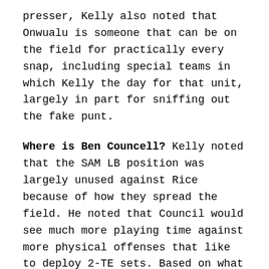presser, Kelly also noted that Onwualu is someone that can be on the field for practically every snap, including special teams in which Kelly the day for that unit, largely in part for sniffing out the fake punt.
Where is Ben Councell? Kelly noted that the SAM LB position was largely unused against Rice because of how they spread the field. He noted that Council would see much more playing time against more physical offenses that like to deploy 2-TE sets. Based on what I saw from Michigan this past week, don't be surprised if Councell sees more of this playing time that Kelly refers to.
Brian Kelly, trolling hard: The first thing he credited for the improved special teams play was the Irish's ability